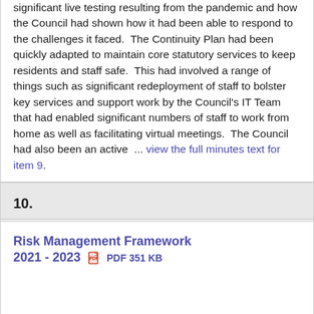significant live testing resulting from the pandemic and how the Council had shown how it had been able to respond to the challenges it faced.  The Continuity Plan had been quickly adapted to maintain core statutory services to keep residents and staff safe.  This had involved a range of things such as significant redeployment of staff to bolster key services and support work by the Council's IT Team that had enabled significant numbers of staff to work from home as well as facilitating virtual meetings.  The Council had also been an active  ... view the full minutes text for item 9.
10.
Risk Management Framework 2021 - 2023  PDF 351 KB